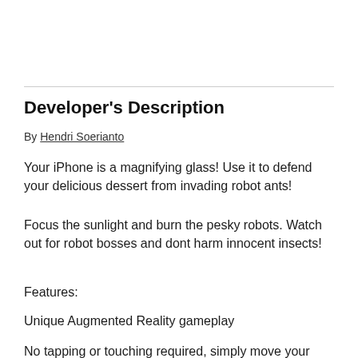Developer's Description
By Hendri Soerianto
Your iPhone is a magnifying glass! Use it to defend your delicious dessert from invading robot ants!
Focus the sunlight and burn the pesky robots. Watch out for robot bosses and dont harm innocent insects!
Features:
Unique Augmented Reality gameplay
No tapping or touching required, simply move your iPhone